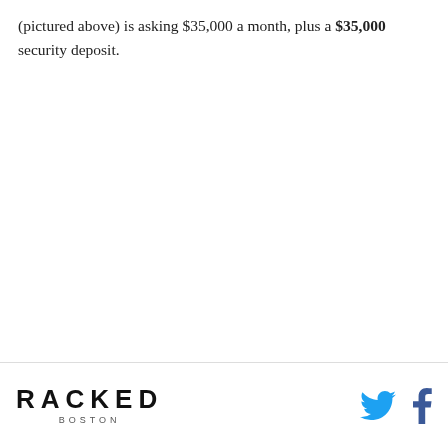(pictured above) is asking $35,000 a month, plus a $35,000 security deposit.
RACKED BOSTON